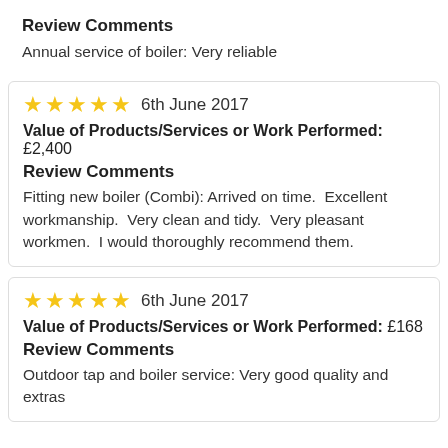Review Comments
Annual service of boiler: Very reliable
★★★★★  6th June 2017
Value of Products/Services or Work Performed: £2,400
Review Comments
Fitting new boiler (Combi): Arrived on time.  Excellent workmanship.  Very clean and tidy.  Very pleasant workmen.  I would thoroughly recommend them.
★★★★★  6th June 2017
Value of Products/Services or Work Performed: £168
Review Comments
Outdoor tap and boiler service: Very good quality and extras